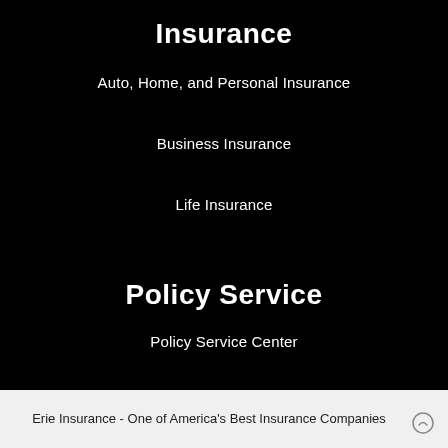Insurance
Auto, Home, and Personal Insurance
Business Insurance
Life Insurance
Policy Service
Policy Service Center
Erie Insurance - One of America's Best Insurance Companies